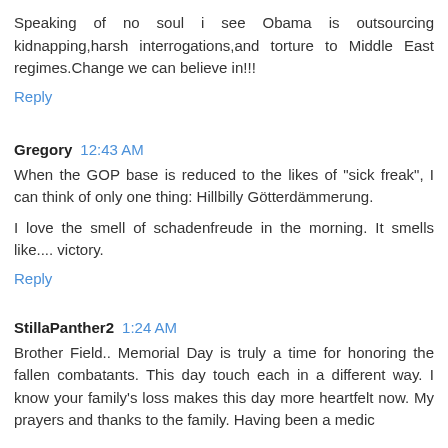Speaking of no soul i see Obama is outsourcing kidnapping,harsh interrogations,and torture to Middle East regimes.Change we can believe in!!!
Reply
Gregory 12:43 AM
When the GOP base is reduced to the likes of "sick freak", I can think of only one thing: Hillbilly Götterdämmerung.
I love the smell of schadenfreude in the morning. It smells like.... victory.
Reply
StillaPanther2 1:24 AM
Brother Field.. Memorial Day is truly a time for honoring the fallen combatants. This day touch each in a different way. I know your family's loss makes this day more heartfelt now. My prayers and thanks to the family. Having been a medic